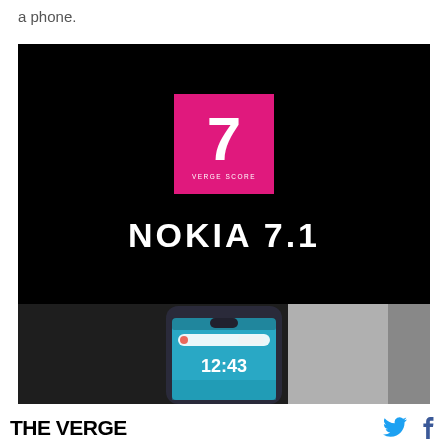a phone.
[Figure (infographic): Nokia 7.1 review score card on black background showing a pink square with the number 7 and text 'VERGE SCORE', below which is 'NOKIA 7.1' in large white uppercase letters. Below the score card is a photo of the Nokia 7.1 smartphone showing its screen with time 12:43.]
THE VERGE